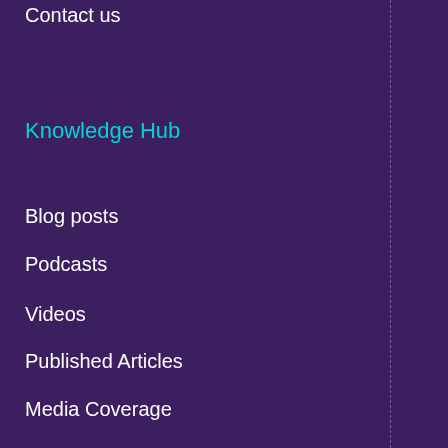Contact us
Knowledge Hub
Blog posts
Podcasts
Videos
Published Articles
Media Coverage
Site info
Contact us
Privacy Policy
Sales Terms & Conditio...